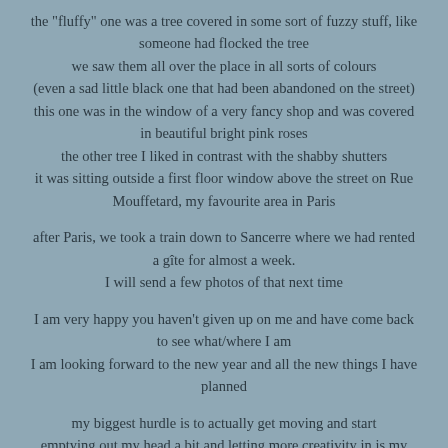the "fluffy" one was a tree covered in some sort of fuzzy stuff, like someone had flocked the tree
we saw them all over the place in all sorts of colours
(even a sad little black one that had been abandoned on the street)
this one was in the window of a very fancy shop and was covered in beautiful bright pink roses
the other tree I liked in contrast with the shabby shutters
it was sitting outside a first floor window above the street on Rue Mouffetard, my favourite area in Paris
after Paris, we took a train down to Sancerre where we had rented a gîte for almost a week.
I will send a few photos of that next time
I am very happy you haven't given up on me and have come back to see what/where I am
I am looking forward to the new year and all the new things I have planned
my biggest hurdle is to actually get moving and start
emptying out my head a bit and letting more creativity in is my first goal..........
or at least beginning to empty and let some calmness and quiet in